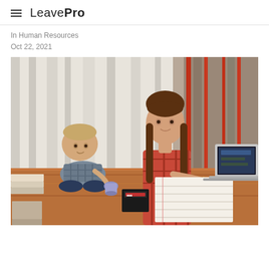LeavePro
In Human Resources
Oct 22, 2021
[Figure (photo): A woman with long brown hair wearing a plaid shirt writing in a notebook at a wooden table with a laptop open beside her, while a baby/toddler in a checked shirt sits nearby on the table holding a toy cup. A stack of books is visible at the left edge. Background shows white curtains and red striped curtains on the right.]